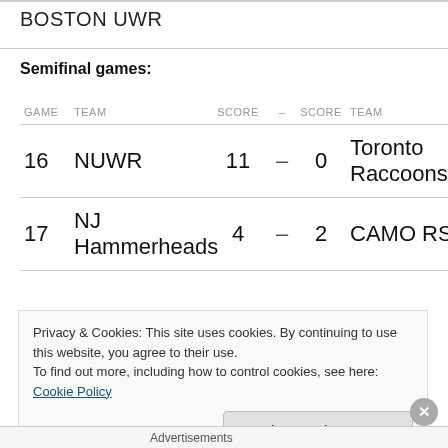BOSTON UWR
Semifinal games:
| GAME | TEAM | SCORE | – | SCORE | TEAM |
| --- | --- | --- | --- | --- | --- |
| 16 | NUWR | 11 | – | 0 | Toronto Raccoons |
| 17 | NJ Hammerheads | 4 | – | 2 | CAMO RS |
Privacy & Cookies: This site uses cookies. By continuing to use this website, you agree to their use.
To find out more, including how to control cookies, see here: Cookie Policy
Close and accept
Advertisements